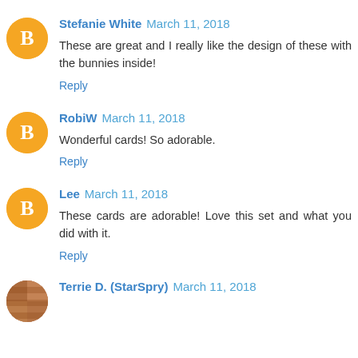Stefanie White March 11, 2018
These are great and I really like the design of these with the bunnies inside!
Reply
RobiW March 11, 2018
Wonderful cards! So adorable.
Reply
Lee March 11, 2018
These cards are adorable! Love this set and what you did with it.
Reply
Terrie D. (StarSpry) March 11, 2018